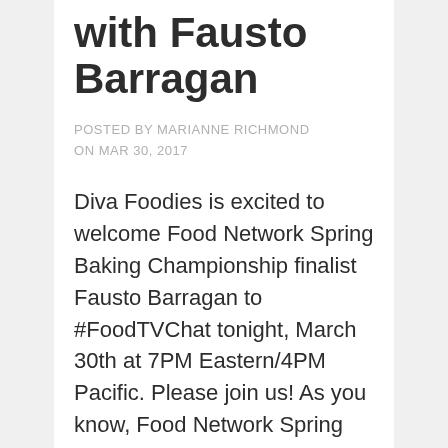with Fausto Barragan
POSTED BY MARIANNE RICHMOND ON MAR 30, 2017
Diva Foodies is excited to welcome Food Network Spring Baking Championship finalist Fausto Barragan to #FoodTVChat tonight, March 30th at 7PM Eastern/4PM Pacific. Please join us! As you know, Food Network Spring Baking Championship is in its third season and this season true to form has had its share of heart crushing challenges. This